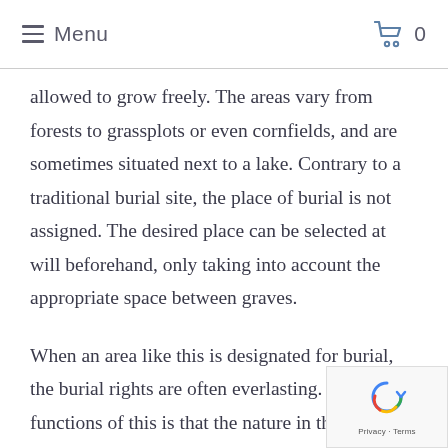Menu  0
allowed to grow freely. The areas vary from forests to grassplots or even cornfields, and are sometimes situated next to a lake. Contrary to a traditional burial site, the place of burial is not assigned. The desired place can be selected at will beforehand, only taking into account the appropriate space between graves.
When an area like this is designated for burial, the burial rights are often everlasting. One of functions of this is that the nature in this area is not